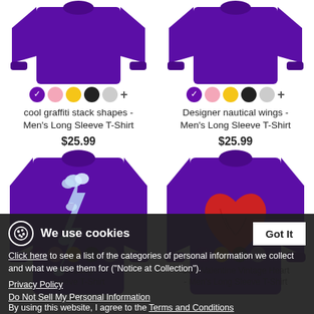[Figure (photo): Purple long sleeve t-shirt (cool graffiti stack shapes design) - top portion cropped]
[Figure (photo): Purple long sleeve t-shirt (Designer nautical wings design) - top portion cropped]
cool graffiti stack shapes - Men's Long Sleeve T-Shirt
$25.99
Designer nautical wings - Men's Long Sleeve T-Shirt
$25.99
[Figure (photo): Purple long sleeve t-shirt with blue cloud/lightning bolt zigzag design on front]
[Figure (photo): Purple long sleeve t-shirt with red vintage heart design on front]
We use cookies
Click here to see a list of the categories of personal information we collect and what we use them for ("Notice at Collection").
Privacy Policy
Do Not Sell My Personal Information
By using this website, I agree to the Terms and Conditions
... Long Sleeve T-Shirt
Cool Valentine Vintage Heart - Men's Long Sleeve T-Shirt